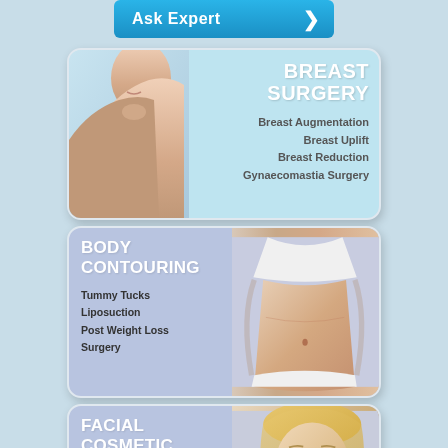[Figure (infographic): Blue Ask Expert button with chevron arrow]
[Figure (infographic): Breast Surgery card with woman's torso photo, listing Breast Augmentation, Breast Uplift, Breast Reduction, Gynaecomastia Surgery]
[Figure (infographic): Body Contouring card with woman's midsection photo, listing Tummy Tucks, Liposuction, Post Weight Loss Surgery]
[Figure (infographic): Facial Cosmetic Surgery card with woman's face photo, title partially visible]